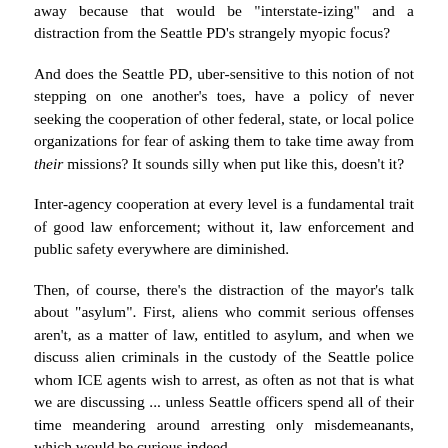away because that would be "interstate-izing" and a distraction from the Seattle PD's strangely myopic focus?
And does the Seattle PD, uber-sensitive to this notion of not stepping on one another's toes, have a policy of never seeking the cooperation of other federal, state, or local police organizations for fear of asking them to take time away from their missions? It sounds silly when put like this, doesn't it?
Inter-agency cooperation at every level is a fundamental trait of good law enforcement; without it, law enforcement and public safety everywhere are diminished.
Then, of course, there's the distraction of the mayor's talk about "asylum". First, aliens who commit serious offenses aren't, as a matter of law, entitled to asylum, and when we discuss alien criminals in the custody of the Seattle police whom ICE agents wish to arrest, as often as not that is what we are discussing ... unless Seattle officers spend all of their time meandering around arresting only misdemeanants, which would be curious indeed.
Second, it is, of course, an egregious overstatement and deliberate conflation when the mayor chooses to intermingle the terms "illegal alien" with "asylum seeker", and that with "asylum recipient". Many illegal aliens don't seek asylum — especially those engaged in